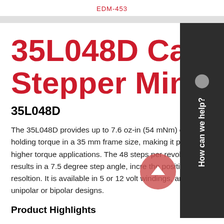EDM-453
35L048D Can Stack Stepper Mini Motor
35L048D
The 35L048D provides up to 7.6 oz-in (54 mNm) of holding torque in a 35 mm frame size, making it perfect for higher torque applications. The 48 steps per revolution results in a 7.5 degree step angle, increasing the positioning resoltion. It is available in 5 or 12 volt windings, and in unipolar or bipolar designs.
Product Highlights